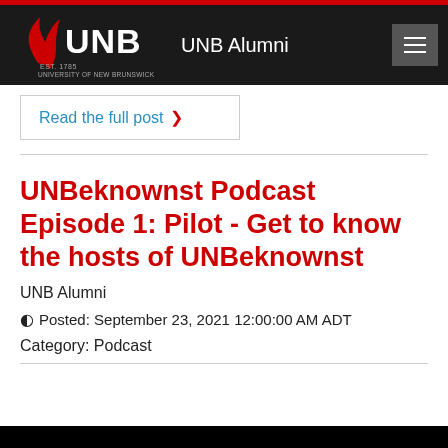UNB Alumni — University of New Brunswick
Read the full post ›
UNBeknownst Podcast Episode 1: Pilot - Get to know the hosts of UNBeknownst
UNB Alumni
Posted: September 23, 2021 12:00:00 AM ADT
Category: Podcast